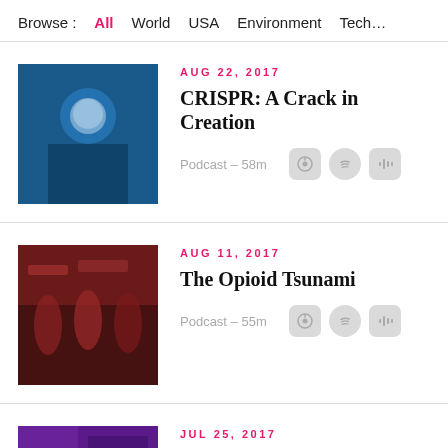Browse :   All   World   USA   Environment   Tech…
AUG 22, 2017 — CRISPR: A Crack in Creation — Podcast – 58m
AUG 11, 2017 — The Opioid Tsunami — Podcast – 55m
JUL 25, 2017 — Tom Price: Federal Health…